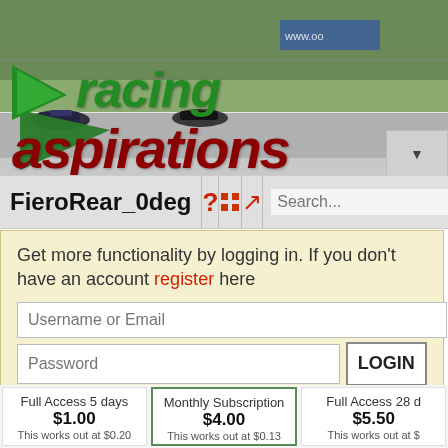[Figure (screenshot): Racing Aspirations website header with photo of racing cars on track and logo overlay]
FieroRear_0deg ? [grid] [arrow] Search... Go
Get more functionality by logging in. If you don't have an account register here
Username or Email
Password LOGIN
Full Access 5 days $1.00 This works out at $0.20
Monthly Subscription $4.00 This works out at $0.13
Full Access 28 d $5.50 This works out at $